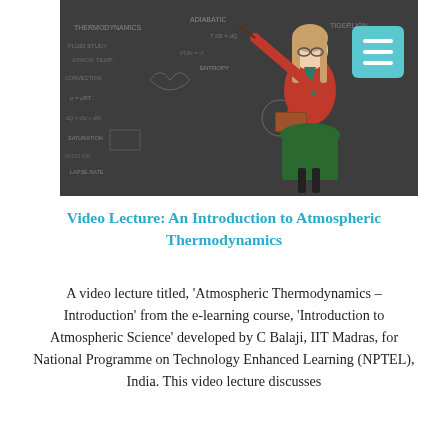[Figure (photo): A female teacher in a red top and green skirt pointing at a blackboard covered in chalk writing and diagrams, holding a book. A teal hamburger menu icon is overlaid in the top-right corner.]
Video Lecture: An Introduction to Atmospheric Thermodynamics
A video lecture titled, 'Atmospheric Thermodynamics – Introduction' from the e-learning course, 'Introduction to Atmospheric Science' developed by C Balaji, IIT Madras, for National Programme on Technology Enhanced Learning (NPTEL), India. This video lecture discusses